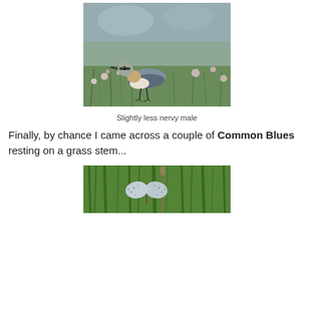[Figure (photo): A bird (wheatear male) standing among wildflowers and grass on the ground. The bird has grey-blue plumage with buff/orange cheek patches and a dark eye stripe and wings. Soft-focus pink and white flowers surround it.]
Slightly less nervy male
Finally, by chance I came across a couple of Common Blues resting on a grass stem...
[Figure (photo): A butterfly (Common Blue) resting on a grass stem among green grass blades and seed heads. The butterfly's wings show spotted underside markings.]